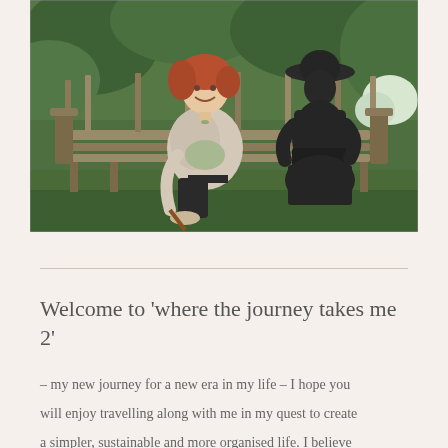[Figure (photo): A smiling woman with short red hair sits on a wooden garden bench next to a dark bronze statue of a seated figure wearing a wide-brimmed hat. The background shows lush green garden vegetation.]
Welcome to 'where the journey takes me 2'
– my new journey for a new era in my life – I hope you
will enjoy travelling along with me in my quest to create
a simpler, sustainable and more organised life. I believe